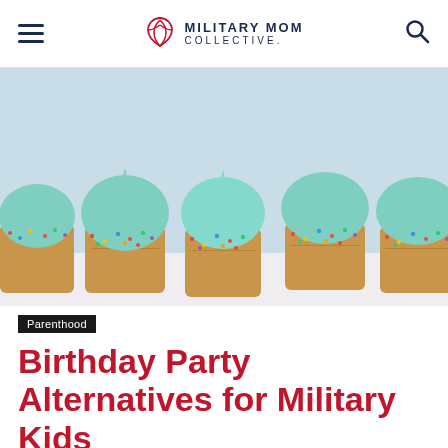Military Mom Collective
[Figure (photo): Row of cupcakes with mint/teal frosting and colorful sprinkles on a light blue background]
Parenthood
Birthday Party Alternatives for Military Kids